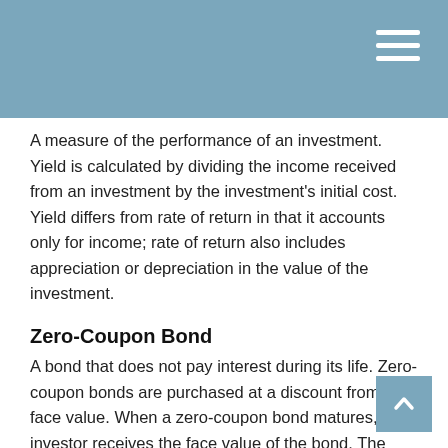A measure of the performance of an investment. Yield is calculated by dividing the income received from an investment by the investment's initial cost. Yield differs from rate of return in that it accounts only for income; rate of return also includes appreciation or depreciation in the value of the investment.
Zero-Coupon Bond
A bond that does not pay interest during its life. Zero-coupon bonds are purchased at a discount from their face value. When a zero-coupon bond matures, the investor receives the face value of the bond. The market value of a bond will fluctuate with changes in interest rates. As rates rise, the value of existing bonds typically falls. If an investor sells a bond before maturity, it may be worth more or less that the initial purchase price. By holding a bond to maturity, an